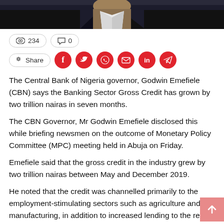[Figure (photo): Partial photo of a person wearing a suit with a green tie, dark background]
234 views  0 comments
Share (social media buttons: Facebook, Twitter, WhatsApp, Email, LinkedIn, Telegram)
The Central Bank of Nigeria governor, Godwin Emefiele (CBN) says the Banking Sector Gross Credit has grown by two trillion nairas in seven months.
The CBN Governor, Mr Godwin Emefiele disclosed this while briefing newsmen on the outcome of Monetary Policy Committee (MPC) meeting held in Abuja on Friday.
Emefiele said that the gross credit in the industry grew by two trillion nairas between May and December 2019.
He noted that the credit was channelled primarily to the employment-stimulating sectors such as agriculture and manufacturing, in addition to increased lending to the retail